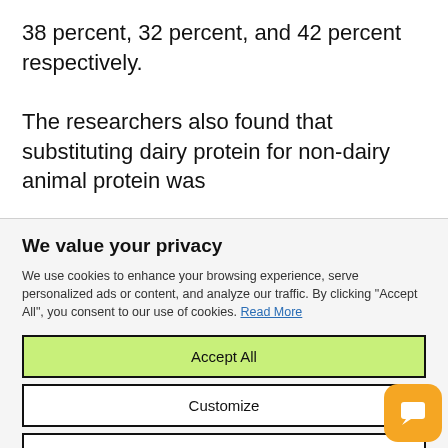38 percent, 32 percent, and 42 percent respectively.
The researchers also found that substituting dairy protein for non-dairy animal protein was
We value your privacy
We use cookies to enhance your browsing experience, serve personalized ads or content, and analyze our traffic. By clicking "Accept All", you consent to our use of cookies. Read More
Accept All
Customize
Reject All